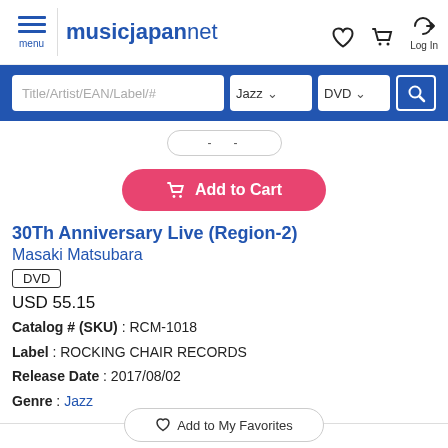musicjapanet
Title/Artist/EAN/Label/# | Jazz | DVD
- -
Add to Cart
30Th Anniversary Live (Region-2)
Masaki Matsubara
DVD
USD 55.15
Catalog # (SKU) : RCM-1018
Label : ROCKING CHAIR RECORDS
Release Date : 2017/08/02
Genre : Jazz
Add to My Favorites